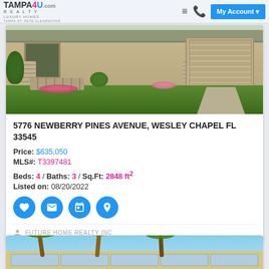TAMPA4U.com REALTY LUXURY HOMES TAMPA·ST. PETE·CLEARWATER
[Figure (photo): Exterior photo of a single-family home with stone accents, two-car garage, and green lawn with landscaping]
5776 NEWBERRY PINES AVENUE, WESLEY CHAPEL FL 33545
Price: $635,050
MLS#: T3397481
Beds: 4 / Baths: 3 / Sq.Ft: 2848 ft²
Listed on: 08/20/2022
FUTURE HOME REALTY INC
[Figure (photo): Partial view of a building with palm trees and blue sky]